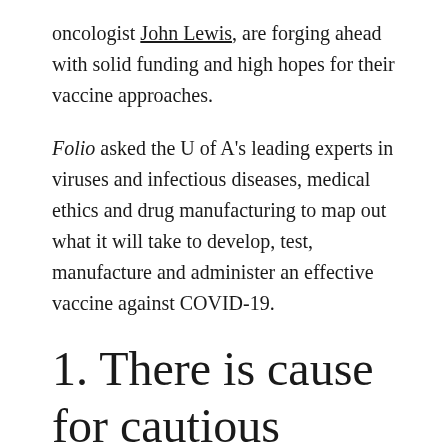oncologist John Lewis, are forging ahead with solid funding and high hopes for their vaccine approaches.
Folio asked the U of A's leading experts in viruses and infectious diseases, medical ethics and drug manufacturing to map out what it will take to develop, test, manufacture and administer an effective vaccine against COVID-19.
1. There is cause for cautious optimism
A typical vaccine can take a decade or more to develop, and for some diseases, such as